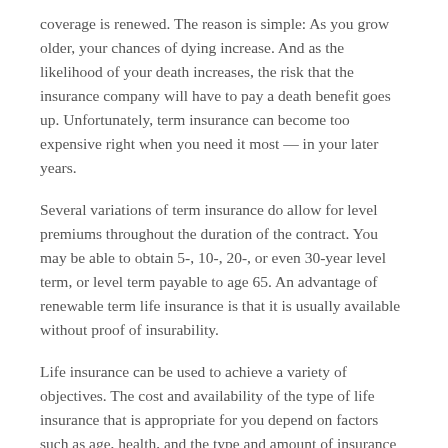coverage is renewed. The reason is simple: As you grow older, your chances of dying increase. And as the likelihood of your death increases, the risk that the insurance company will have to pay a death benefit goes up. Unfortunately, term insurance can become too expensive right when you need it most — in your later years.
Several variations of term insurance do allow for level premiums throughout the duration of the contract. You may be able to obtain 5-, 10-, 20-, or even 30-year level term, or level term payable to age 65. An advantage of renewable term life insurance is that it is usually available without proof of insurability.
Life insurance can be used to achieve a variety of objectives. The cost and availability of the type of life insurance that is appropriate for you depend on factors such as age, health, and the type and amount of insurance purchased. Before implementing a